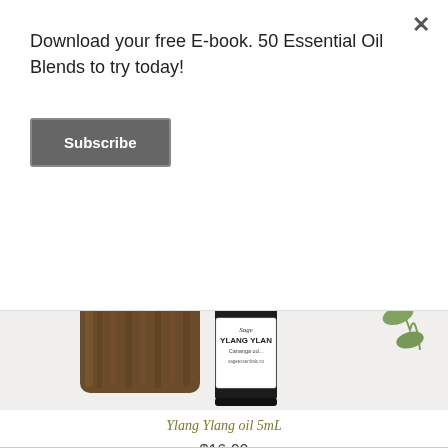Download your free E-book. 50 Essential Oil Blends to try today!
Subscribe
[Figure (photo): A small essential oil bottle labeled 'Sage YLANG YLANG Cananga odorata' with a black dropper cap, placed next to a piece of wood bark and a green eucalyptus sprig on a white surface.]
Ylang Ylang oil 5mL
$16.00